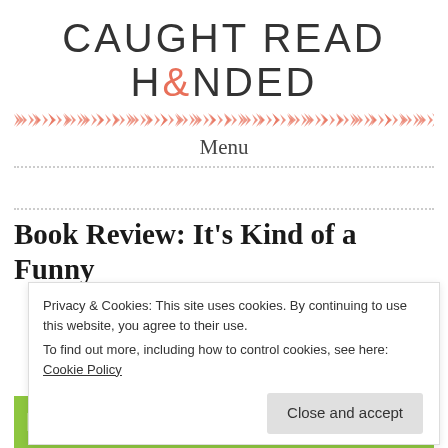CAUGHT READ H&NDED
[Figure (illustration): A row of salmon/coral colored arrow chevrons pointing right, forming a decorative horizontal divider.]
Menu
Book Review: It's Kind of a Funny
Privacy & Cookies: This site uses cookies. By continuing to use this website, you agree to their use.
To find out more, including how to control cookies, see here: Cookie Policy
Close and accept